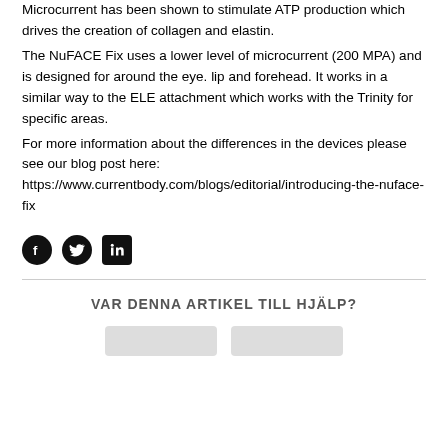Microcurrent has been shown to stimulate ATP production which drives the creation of collagen and elastin. The NuFACE Fix uses a lower level of microcurrent (200 MPA) and is designed for around the eye. lip and forehead. It works in a similar way to the ELE attachment which works with the Trinity for specific areas. For more information about the differences in the devices please see our blog post here: https://www.currentbody.com/blogs/editorial/introducing-the-nuface-fix
[Figure (other): Row of three social media icons: Facebook (circle), Twitter (circle), LinkedIn (square)]
VAR DENNA ARTIKEL TILL HJÄLP?